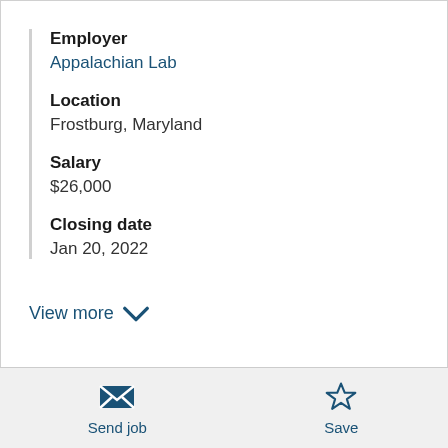Employer
Appalachian Lab
Location
Frostburg, Maryland
Salary
$26,000
Closing date
Jan 20, 2022
View more
Send job
Save